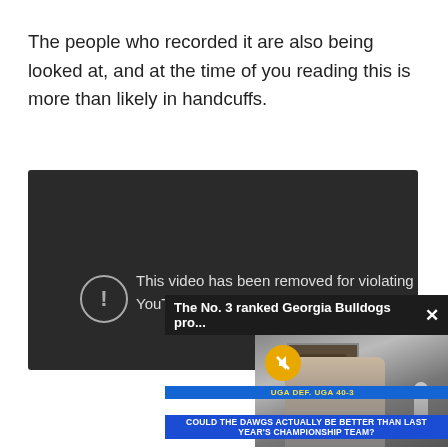The people who recorded it are also being looked at, and at the time of you reading this is more than likely in handcuffs.
[Figure (screenshot): YouTube video removed error screen (dark background) showing '!' icon and text: 'This video has been removed for violating YouTube's Terms of Service', with an overlapping ad popup showing 'The No. 3 ranked Georgia Bulldogs pro...' with an X close button and a muted sports broadcast video thumbnail with lower-third graphics reading 'UGA DEF. UGA 40-3' and 'COULD THE DAWGS ACTUALLY BE BETTER THAN LAST YEAR'S CHAMPIONSHIP TEAM?']